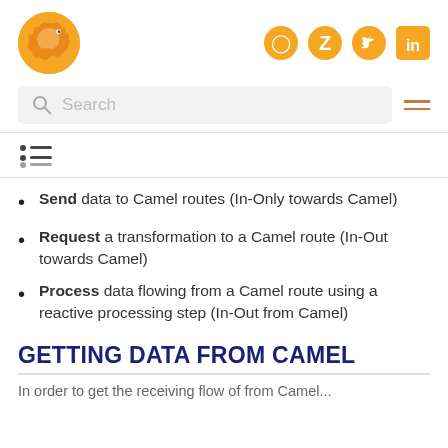Camel logo and social icons (GitHub, Zulip, Twitter, LinkedIn)
[Figure (screenshot): Search bar with magnifying glass icon and hamburger menu]
[Figure (other): List/outline icon]
Send data to Camel routes (In-Only towards Camel)
Request a transformation to a Camel route (In-Out towards Camel)
Process data flowing from a Camel route using a reactive processing step (In-Out from Camel)
GETTING DATA FROM CAMEL
In order to get the receiving flow of from Camel...